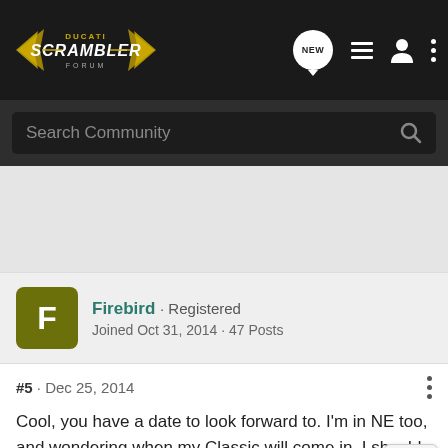[Figure (logo): Ducati Scrambler Forum logo with wing emblems on dark background nav bar]
Search Community
Firebird · Registered
Joined Oct 31, 2014 · 47 Posts
#5 · Dec 25, 2014
Cool, you have a date to look forward to. I'm in NE too, and wondering when my Classic will come in. I should give my dealer a call.